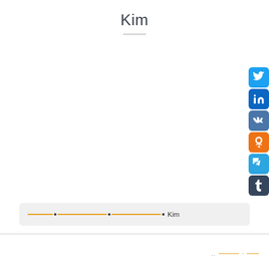Kim
[Figure (other): Social sharing sidebar buttons: Twitter, LinkedIn, VK, Odnoklassniki, Telegram, Tumblr]
• Kim (breadcrumb navigation bar)
.. ___ · ___